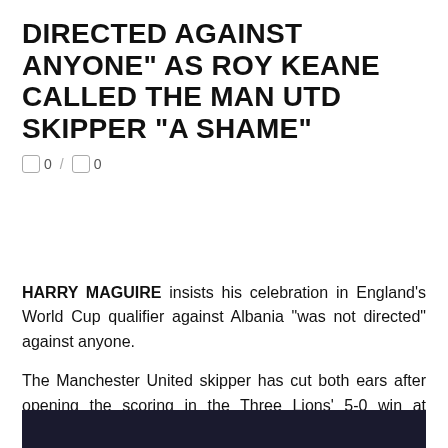DIRECTED AGAINST ANYONE” AS ROY KEANE CALLED THE MAN UTD SKIPPER “A SHAME”
□ 0 / □ 0
HARRY MAGUIRE insists his celebration in England’s World Cup qualifier against Albania “was not directed” against anyone.
The Manchester United skipper has cut both ears after opening the scoring in the Three Lions’ 5-0 win at Wembley on Friday night.
5
Harry Maguire scored England’s first game against AlbaniaCredit: Alamy
[Figure (photo): Dark photo bar at bottom of page showing a football match scene]